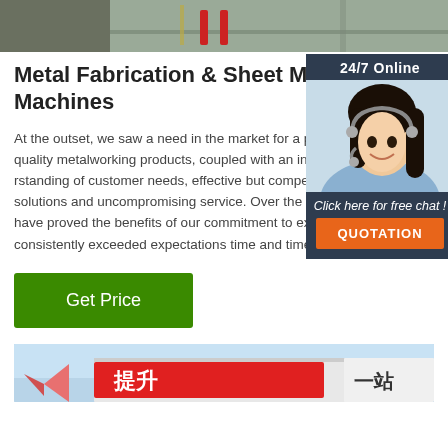[Figure (photo): Top portion of industrial/factory floor image, partially visible at top of page]
Metal Fabrication & Sheet Metal Machines
At the outset, we saw a need in the market for a provider of high quality metalworking products, coupled with an in-depth understanding of customer needs, effective but competitively priced solutions and uncompromising service. Over the years our customers have proved the benefits of our commitment to excellence and have consistently exceeded expectations time and time again. Today ...
[Figure (photo): 24/7 Online chat widget with female customer service agent wearing headset, dark blue background, orange QUOTATION button]
[Figure (other): Green 'Get Price' button]
[Figure (photo): Bottom image showing Chinese signage with red banners and text in Chinese characters]